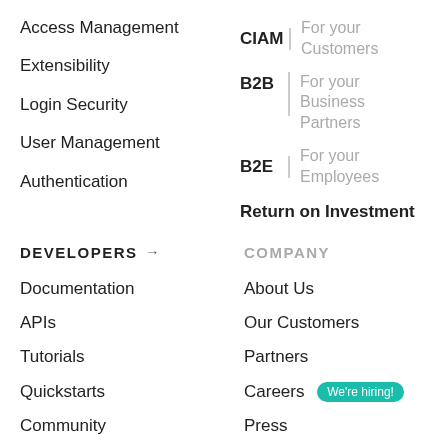Access Management
Extensibility
Login Security
User Management
Authentication
CIAM | For your Customers
B2B | For your Business Partners
B2E | For your Employees
Return on Investment
DEVELOPERS →
COMPANY
Documentation
APIs
Tutorials
Quickstarts
Community
Support Center
About Us
Our Customers
Partners
Careers We're hiring!
Press
Compliance